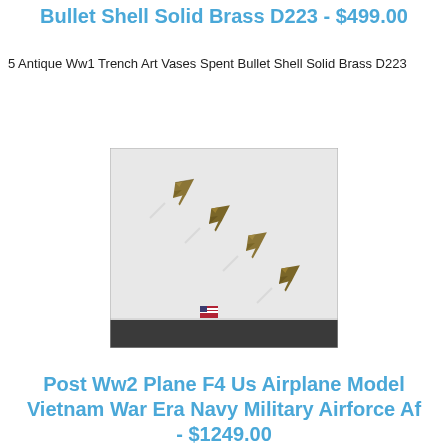Bullet Shell Solid Brass D223 - $499.00
5 Antique Ww1 Trench Art Vases Spent Bullet Shell Solid Brass D223
[Figure (photo): Four military jet aircraft flying in formation diagonally against a light sky, with an American flag and crowd visible at the bottom]
Post Ww2 Plane F4 Us Airplane Model Vietnam War Era Navy Military Airforce Af - $1249.00